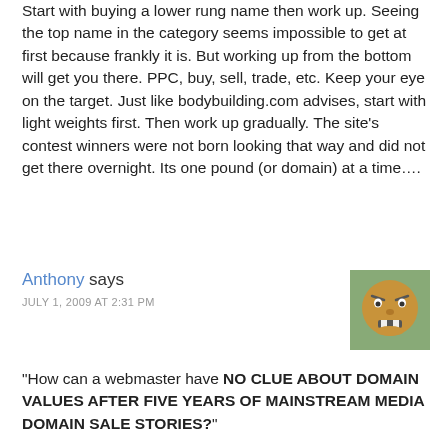Start with buying a lower rung name then work up. Seeing the top name in the category seems impossible to get at first because frankly it is. But working up from the bottom will get you there. PPC, buy, sell, trade, etc. Keep your eye on the target. Just like bodybuilding.com advises, start with light weights first. Then work up gradually. The site's contest winners were not born looking that way and did not get there overnight. Its one pound (or domain) at a time….
Anthony says
JULY 1, 2009 AT 2:31 PM
[Figure (illustration): User avatar: cartoon smiley face with angry expression, gold/brown colors on green background]
“How can a webmaster have NO CLUE ABOUT DOMAIN VALUES AFTER FIVE YEARS OF MAINSTREAM MEDIA DOMAIN SALE STORIES?”
Two reasons I have found to be true……